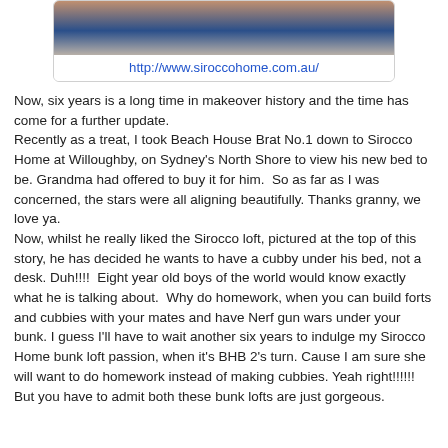[Figure (photo): Top portion of a photo showing a person in a blue top against a light background, inside a rounded card with a URL link below]
http://www.siroccohome.com.au/
Now, six years is a long time in makeover history and the time has come for a further update.
Recently as a treat, I took Beach House Brat No.1 down to Sirocco Home at Willoughby, on Sydney's North Shore to view his new bed to be. Grandma had offered to buy it for him.  So as far as I was concerned, the stars were all aligning beautifully. Thanks granny, we love ya.
Now, whilst he really liked the Sirocco loft, pictured at the top of this story, he has decided he wants to have a cubby under his bed, not a desk. Duh!!!!  Eight year old boys of the world would know exactly what he is talking about.  Why do homework, when you can build forts and cubbies with your mates and have Nerf gun wars under your bunk. I guess I'll have to wait another six years to indulge my Sirocco Home bunk loft passion, when it's BHB 2's turn. Cause I am sure she will want to do homework instead of making cubbies. Yeah right!!!!!! But you have to admit both these bunk lofts are just gorgeous.